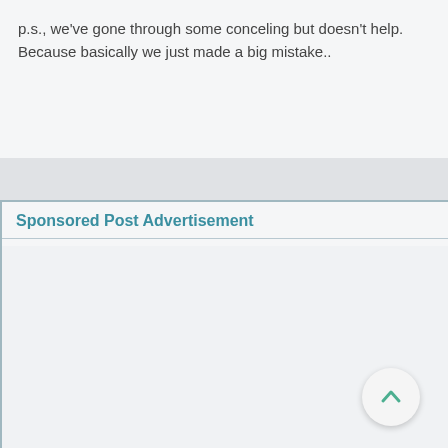p.s., we've gone through some conceling but doesn't help. Because basically we just made a big mistake..
Sponsored Post Advertisement